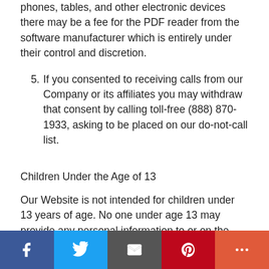phones, tables, and other electronic devices there may be a fee for the PDF reader from the software manufacturer which is entirely under their control and discretion.
5. If you consented to receiving calls from our Company or its affiliates you may withdraw that consent by calling toll-free (888) 870-1933, asking to be placed on our do-not-call list.
Children Under the Age of 13
Our Website is not intended for children under 13 years of age. No one under age 13 may provide any personal information to or on the Website. We do not knowingly collect personal information from children under 13. If you are under 13, do not use or provide any information
Social sharing bar: Facebook, Twitter, Email, Pinterest, More